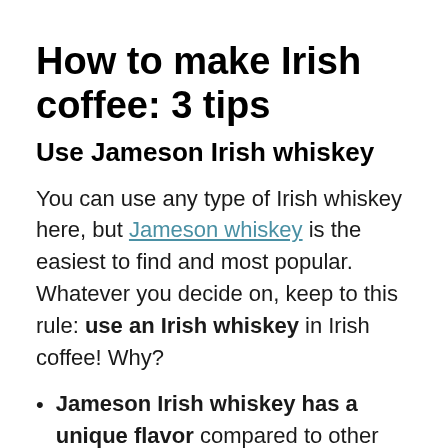How to make Irish coffee: 3 tips
Use Jameson Irish whiskey
You can use any type of Irish whiskey here, but Jameson whiskey is the easiest to find and most popular. Whatever you decide on, keep to this rule: use an Irish whiskey in Irish coffee! Why?
Jameson Irish whiskey has a unique flavor compared to other types of whiskey. It's light and fruity, with a lightly floral scent and hints of nutty and vanilla tones. The finish is smooth and mellow, compared to the spicier finish of